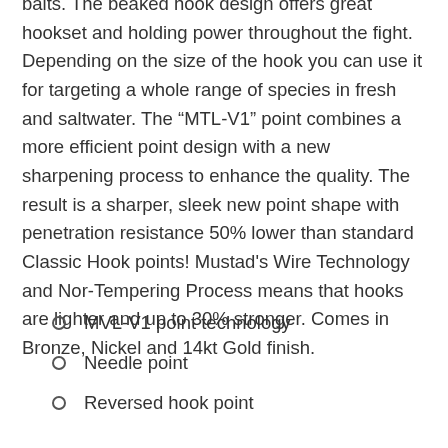baits. The beaked hook design offers great hookset and holding power throughout the fight. Depending on the size of the hook you can use it for targeting a whole range of species in fresh and saltwater. The “MTL-V1” point combines a more efficient point design with a new sharpening process to enhance the quality. The result is a sharper, sleek new point shape with penetration resistance 50% lower than standard Classic Hook points! Mustad's Wire Technology and Nor-Tempering Process means that hooks are lighter and up to 30% stronger. Comes in Bronze, Nickel and 14kt Gold finish.
MVL-V1 point technology
Needle point
Reversed hook point